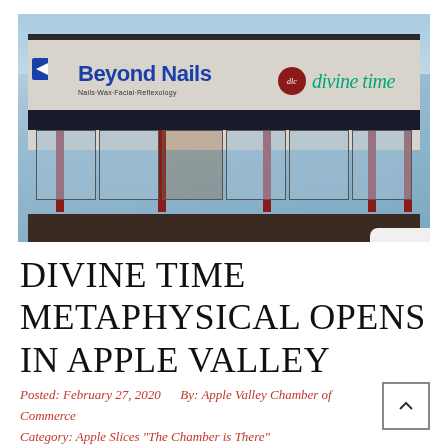[Figure (photo): Exterior photo of a strip mall storefront showing Beyond Nails (Nails·Wax·Facial·Reflexology) on the left with blue lettering and Divine Time with teal italic lettering on the right, taken in winter with snow visible.]
DIVINE TIME METAPHYSICAL OPENS IN APPLE VALLEY
Posted: February 27, 2020     By: Apple Valley Chamber of Commerce     Category: Apple Slices "The Chamber is There"     Comment: 0